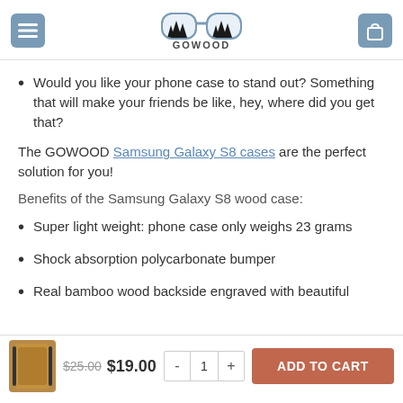GOWOOD
Would you like your phone case to stand out? Something that will make your friends be like, hey, where did you get that?
The GOWOOD Samsung Galaxy S8 cases are the perfect solution for you!
Benefits of the Samsung Galaxy S8 wood case:
Super light weight: phone case only weighs 23 grams
Shock absorption polycarbonate bumper
Real bamboo wood backside engraved with beautiful
$25.00  $19.00  -  1  +  ADD TO CART